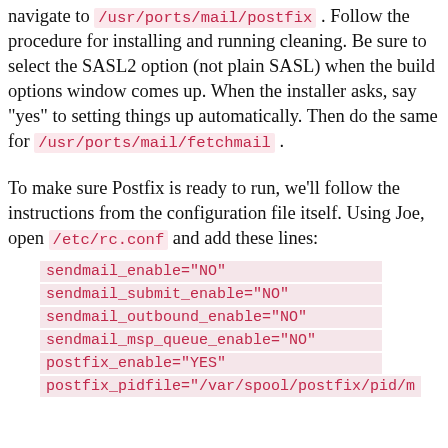navigate to /usr/ports/mail/postfix . Follow the procedure for installing and running cleaning. Be sure to select the SASL2 option (not plain SASL) when the build options window comes up. When the installer asks, say "yes" to setting things up automatically. Then do the same for /usr/ports/mail/fetchmail .
To make sure Postfix is ready to run, we'll follow the instructions from the configuration file itself. Using Joe, open /etc/rc.conf and add these lines:
sendmail_enable="NO"
sendmail_submit_enable="NO"
sendmail_outbound_enable="NO"
sendmail_msp_queue_enable="NO"
postfix_enable="YES"
postfix_pidfile="/var/spool/postfix/pid/m